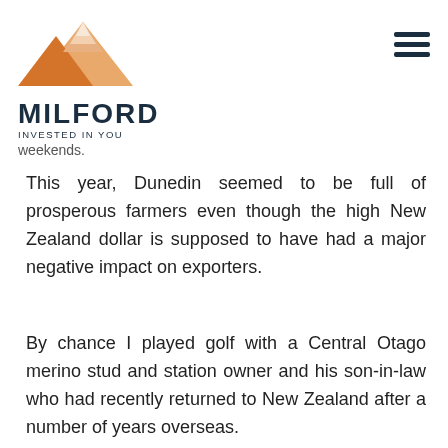[Figure (logo): Milford Asset Management logo with orange mountain graphic, large MILFORD text, and tagline INVESTED IN YOU]
weekends.
This year, Dunedin seemed to be full of prosperous farmers even though the high New Zealand dollar is supposed to have had a major negative impact on exporters.
By chance I played golf with a Central Otago merino stud and station owner and his son-in-law who had recently returned to New Zealand after a number of years overseas.